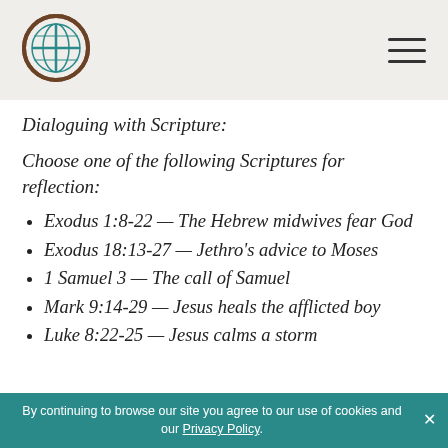[Figure (logo): Globe/cross logo in teal and brown circle]
Dialoguing with Scripture:
Choose one of the following Scriptures for reflection:
Exodus 1:8-22 — The Hebrew midwives fear God
Exodus 18:13-27 — Jethro's advice to Moses
1 Samuel 3 — The call of Samuel
Mark 9:14-29 — Jesus heals the afflicted boy
Luke 8:22-25 — Jesus calms a storm
By continuing to browse our site you agree to our use of cookies and our Privacy Policy.